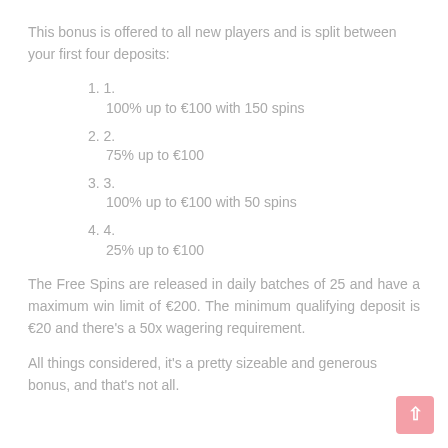This bonus is offered to all new players and is split between your first four deposits:
1.
100% up to €100 with 150 spins
2.
75% up to €100
3.
100% up to €100 with 50 spins
4.
25% up to €100
The Free Spins are released in daily batches of 25 and have a maximum win limit of €200. The minimum qualifying deposit is €20 and there's a 50x wagering requirement.
All things considered, it's a pretty sizeable and generous bonus, and that's not all.